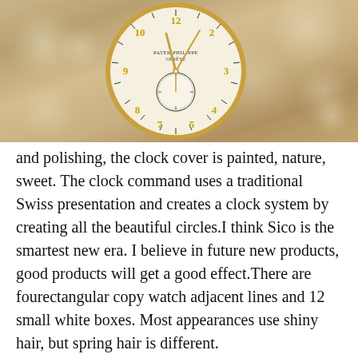[Figure (photo): Close-up of a Patek Philippe Geneve luxury watch with gold case, white dial showing arabesque numerals, sub-dial, and gold hands, against a warm bokeh background.]
and polishing, the clock cover is painted, nature, sweet. The clock command uses a traditional Swiss presentation and creates a clock system by creating all the beautiful circles.I think Sico is the smartest new era. I believe in future new products, good products will get a good effect.There are fourectangular copy watch adjacent lines and 12 small white boxes. Most appearances use shiny hair, but spring hair is different.

The clock is part of the hammer and 2358